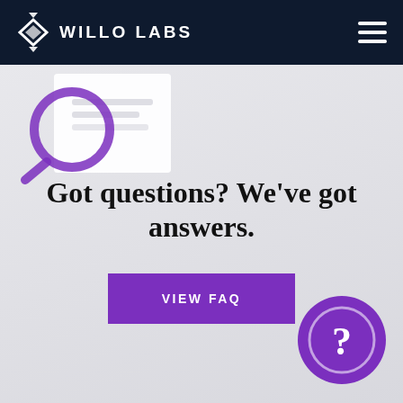WILLO LABS
[Figure (illustration): Search/magnifying glass illustration over a document card, partially visible at top left of gray content area]
Got questions? We've got answers.
VIEW FAQ
[Figure (illustration): Purple circle with white question mark icon, positioned at bottom right]